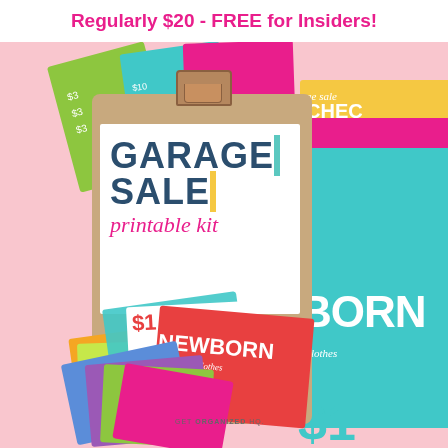Regularly $20 - FREE for Insiders!
[Figure (illustration): Garage Sale Printable Kit promotional image showing a clipboard with 'GARAGE SALE printable kit' text, surrounded by colorful price tag cards, category signs (NEWBORN girl clothes), and a garage sale checklist, with a pink background and GET ORGANIZED HQ branding.]